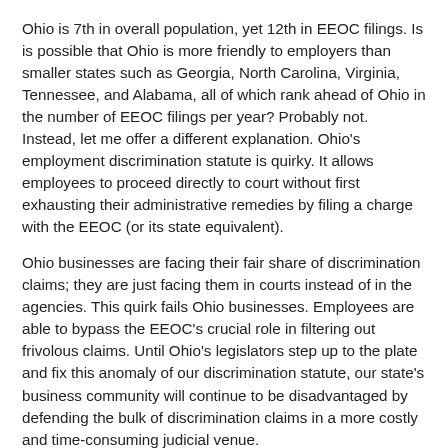Ohio is 7th in overall population, yet 12th in EEOC filings. Is is possible that Ohio is more friendly to employers than smaller states such as Georgia, North Carolina, Virginia, Tennessee, and Alabama, all of which rank ahead of Ohio in the number of EEOC filings per year? Probably not. Instead, let me offer a different explanation. Ohio's employment discrimination statute is quirky. It allows employees to proceed directly to court without first exhausting their administrative remedies by filing a charge with the EEOC (or its state equivalent).
Ohio businesses are facing their fair share of discrimination claims; they are just facing them in courts instead of in the agencies. This quirk fails Ohio businesses. Employees are able to bypass the EEOC's crucial role in filtering out frivolous claims. Until Ohio's legislators step up to the plate and fix this anomaly of our discrimination statute, our state's business community will continue to be disadvantaged by defending the bulk of discrimination claims in a more costly and time-consuming judicial venue.
Jon Hyman